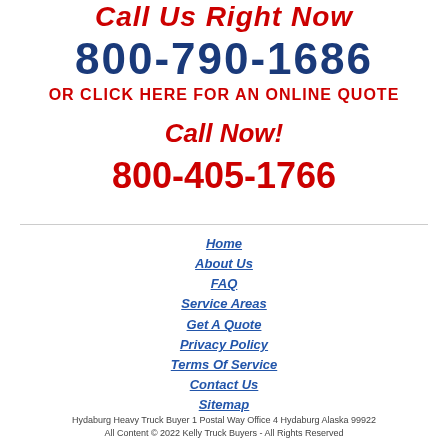Call Us Right Now
800-790-1686
OR CLICK HERE FOR AN ONLINE QUOTE
Call Now!
800-405-1766
Home
About Us
FAQ
Service Areas
Get A Quote
Privacy Policy
Terms Of Service
Contact Us
Sitemap
Hydaburg Heavy Truck Buyer 1 Postal Way Office 4 Hydaburg Alaska 99922
All Content © 2022 Kelly Truck Buyers - All Rights Reserved